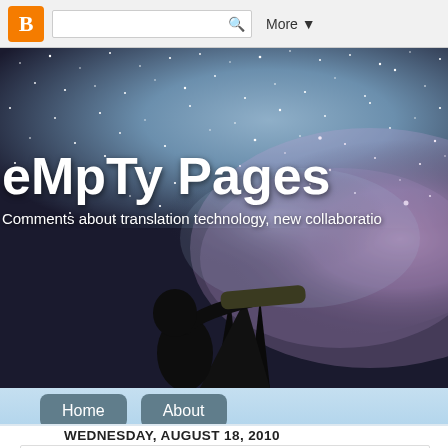[Figure (screenshot): Blogger navigation bar with orange Blogger icon, search box with magnifying glass, and 'More' dropdown]
[Figure (photo): Hero banner showing a silhouetted person looking through a telescope on a tripod against a starry night sky with the Milky Way visible in purple and blue tones]
eMpTy Pages
Comments about translation technology, new collaboratio
Home   About
WEDNESDAY, AUGUST 18, 2010